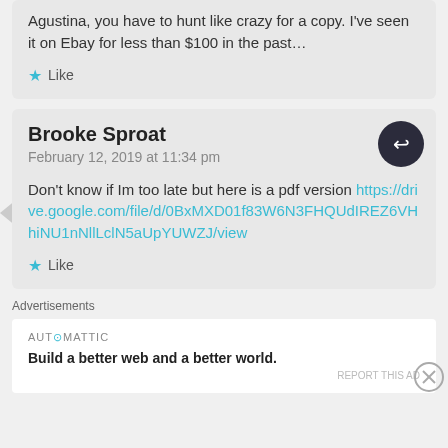Agustina, you have to hunt like crazy for a copy. I've seen it on Ebay for less than $100 in the past…
★ Like
Brooke Sproat
February 12, 2019 at 11:34 pm
Don't know if Im too late but here is a pdf version https://drive.google.com/file/d/0BxMXD01f83W6N3FHQUdIREZ6VHhiNU1nNllLclN5aUpYUWZJ/view
★ Like
Advertisements
[Figure (other): Automattic advertisement: 'Build a better web and a better world.']
REPORT THIS AD